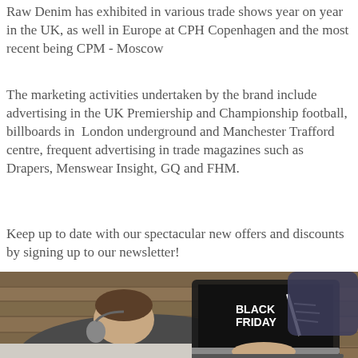Raw Denim has exhibited in various trade shows year on year in the UK, as well in Europe at CPH Copenhagen and the most recent being CPM - Moscow
The marketing activities undertaken by the brand include advertising in the UK Premiership and Championship football, billboards in London underground and Manchester Trafford centre, frequent advertising in trade magazines such as Drapers, Menswear Insight, GQ and FHM.
Keep up to date with our spectacular new offers and discounts by signing up to our newsletter!
[Figure (photo): A person lying on a couch using a laptop that displays a Black Friday promotional screen with text 'BLACK FRIDAY' on it.]